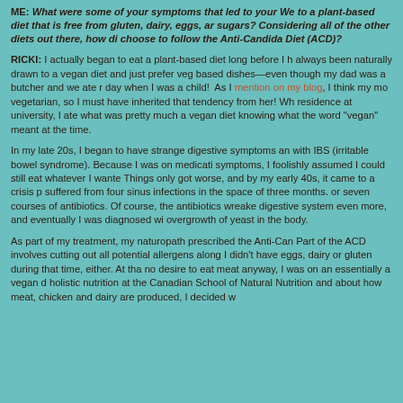ME: What were some of your symptoms that led to your We to a plant-based diet that is free from gluten, dairy, eggs, ar sugars? Considering all of the other diets out there, how di choose to follow the Anti-Candida Diet (ACD)?
RICKI: I actually began to eat a plant-based diet long before I h always been naturally drawn to a vegan diet and just prefer veg based dishes—even though my dad was a butcher and we ate r day when I was a child! As I mention on my blog, I think my mo vegetarian, so I must have inherited that tendency from her! Wh residence at university, I ate what was pretty much a vegan diet knowing what the word "vegan" meant at the time.
In my late 20s, I began to have strange digestive symptoms an with IBS (irritable bowel syndrome). Because I was on medicati symptoms, I foolishly assumed I could still eat whatever I wante Things only got worse, and by my early 40s, it came to a crisis suffered from four sinus infections in the space of three months. or seven courses of antibiotics. Of course, the antibiotics wreak digestive system even more, and eventually I was diagnosed wi overgrowth of yeast in the body.
As part of my treatment, my naturopath prescribed the Anti-Ca Part of the ACD involves cutting out all potential allergens alon I didn't have eggs, dairy or gluten during that time, either. At th no desire to eat meat anyway, I was on an essentially a vegan holistic nutrition at the Canadian School of Natural Nutrition an about how meat, chicken and dairy are produced, I decided...